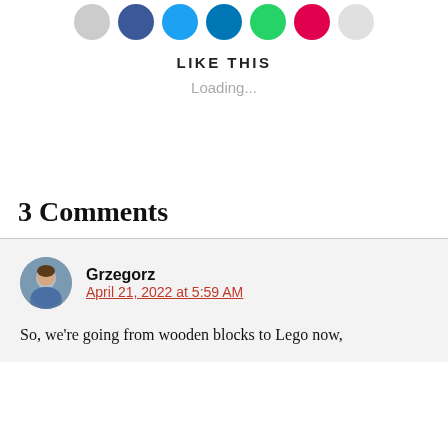[Figure (other): Row of social media share buttons (circular icons): grey, blue (Facebook), light blue (Twitter), dark blue, green (WhatsApp), red, light grey]
LIKE THIS
Loading...
3 Comments
Grzegorz
April 21, 2022 at 5:59 AM
So, we're going from wooden blocks to Lego now,